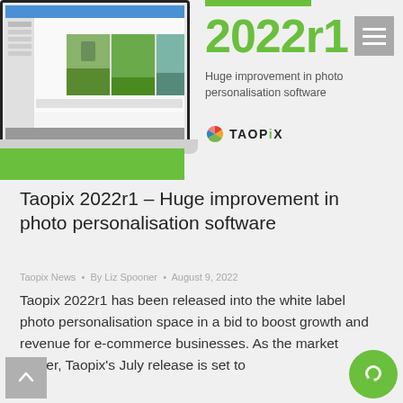[Figure (screenshot): Screenshot of Taopix photo personalisation software showing a photo book editor with a photo strip containing three outdoor/nature photos, displayed on a laptop mockup with a green accent block below]
2022r1
Huge improvement in photo personalisation software
[Figure (logo): TAOPiX logo with coloured leaf/pinwheel icon]
Taopix 2022r1 – Huge improvement in photo personalisation software
Taopix News • By Liz Spooner • August 9, 2022
Taopix 2022r1 has been released into the white label photo personalisation space in a bid to boost growth and revenue for e-commerce businesses. As the market leader, Taopix's July release is set to